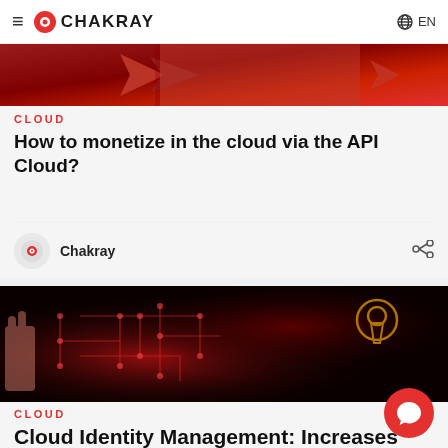CHAKRAY  EN
[Figure (photo): Red banner image with arrow shapes on dark red background]
CLOUD
How to monetize in the cloud via the API Cloud?
Chakray
[Figure (photo): Dark image of a hand touching a circuit board with a glowing red padlock/keyhole symbol]
CLOUD
Cloud Identity Management: Increases